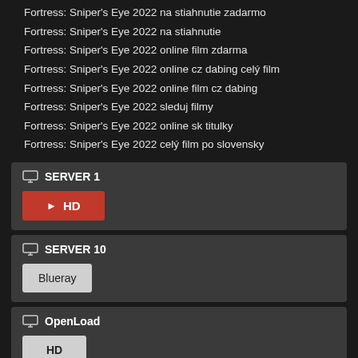Fortress: Sniper's Eye 2022 na stiahnutie zadarmo
Fortress: Sniper's Eye 2022 na stiahnutie
Fortress: Sniper's Eye 2022 online film zdarma
Fortress: Sniper's Eye 2022 online cz dabing celý film
Fortress: Sniper's Eye 2022 online film cz dabing
Fortress: Sniper's Eye 2022 sleduj filmy
Fortress: Sniper's Eye 2022 online sk titulky
Fortress: Sniper's Eye 2022 celý film po slovensky
SERVER 1
► HD
SERVER 10
Blueray
OpenLoad
HD